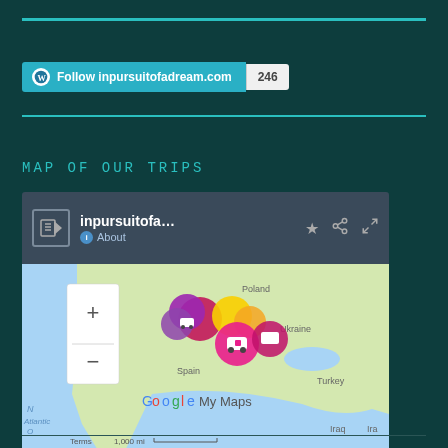[Figure (screenshot): WordPress Follow button for inpursuitofadream.com with follower count 246]
MAP OF OUR TRIPS
[Figure (screenshot): Google My Maps embed showing inpursuitofa... map with RV/caravan markers clustered over Europe (Spain, Ukraine, Turkey visible). Map includes zoom controls (+/-), Google My Maps branding, and scale bar showing 1,000 mi.]